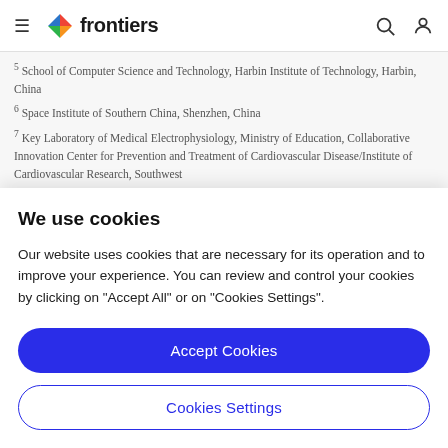frontiers (navigation bar with hamburger menu, logo, search and user icons)
5 School of Computer Science and Technology, Harbin Institute of Technology, Harbin, China
6 Space Institute of Southern China, Shenzhen, China
7 Key Laboratory of Medical Electrophysiology, Ministry of Education, Collaborative Innovation Center for Prevention and Treatment of Cardiovascular Disease/Institute of Cardiovascular Research, Southwest
We use cookies
Our website uses cookies that are necessary for its operation and to improve your experience. You can review and control your cookies by clicking on "Accept All" or on "Cookies Settings".
Accept Cookies
Cookies Settings